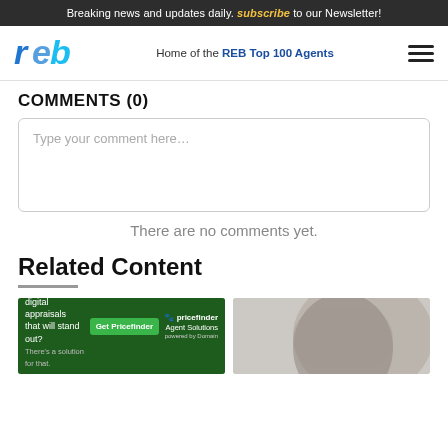Breaking news and updates daily. subscribe to our Newsletter!
[Figure (logo): REB logo with blue lettering, navigation bar with tagline 'Home of the REB Top 100 Agents' and hamburger menu]
COMMENTS (0)
Type your comment here...
There are no comments yet.
Related Content
[Figure (photo): Two related content article thumbnail images side by side, with an advertisement banner overlay at the bottom reading 'Want to create digital appraisals that will stand out? There's a solution for that. Get Pricefinder - Agent Solutions']